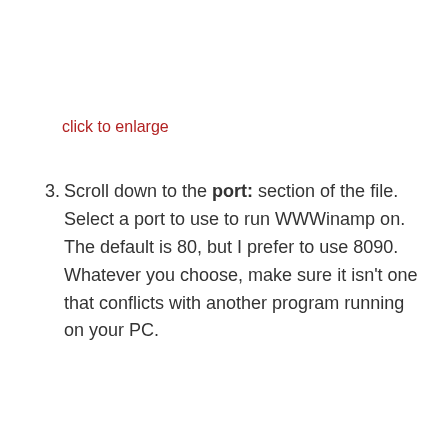click to enlarge
Scroll down to the port: section of the file. Select a port to use to run WWWinamp on. The default is 80, but I prefer to use 8090. Whatever you choose, make sure it isn't one that conflicts with another program running on your PC.